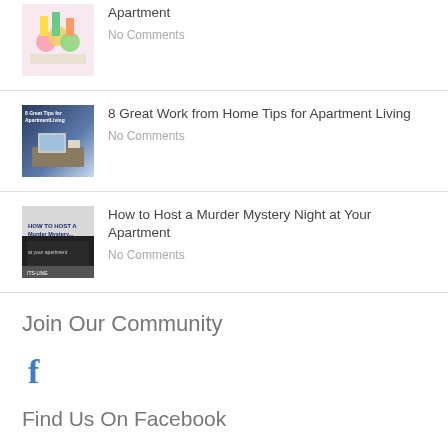[Figure (photo): Thumbnail image of macarons and cleaning supplies]
Apartment
No Comments
[Figure (photo): Thumbnail image of a home office desk with text overlay '8 Great Work from Home Tips for Apartment Living']
8 Great Work from Home Tips for Apartment Living
No Comments
[Figure (photo): Thumbnail image with text 'HOW TO HOST A Murder Mystery... at your apartment']
How to Host a Murder Mystery Night at Your Apartment
No Comments
Join Our Community
[Figure (logo): Facebook 'f' icon in blue]
Find Us On Facebook